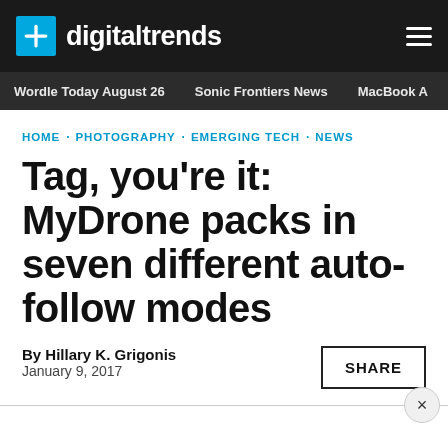digitaltrends
Wordle Today August 26 · Sonic Frontiers News · MacBook A
HOME · PHOTOGRAPHY · EMERGING TECH · NEWS
Tag, you're it: MyDrone packs in seven different auto-follow modes
By Hillary K. Grigonis
January 9, 2017
SHARE